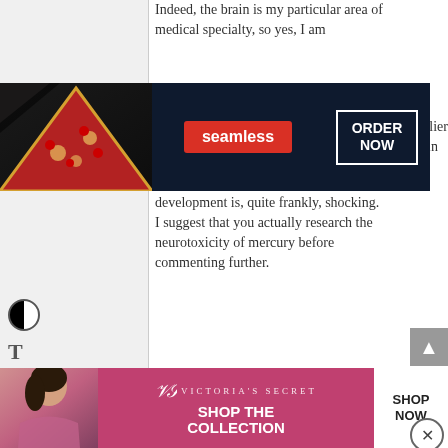Indeed, the brain is my particular area of medical specialty, so yes, I am
[Figure (screenshot): Seamless food delivery advertisement banner with pizza image on left, red 'seamless' pill button in center, and 'ORDER NOW' bordered button on right, on dark navy background]
...cavalier ...rain development is, quite frankly, shocking. I suggest that you actually research the neurotoxicity of mercury before commenting further.
Log in to Reply ↓
[Figure (photo): Profile avatar of a bald man wearing sunglasses and a yellow cycling jersey]
Ric
2015 at 7
QUOTED TEXT
your ca... and fetal brain development is, quite frankly, shocking.
I am basing my opinion on what the CDC says. There is nothing ... in
[Figure (screenshot): Victoria's Secret advertisement banner with model on left, VS logo and SHOP THE COLLECTION text in center on pink background, and SHOP NOW button on right]
CLOSE
SHOP NOW